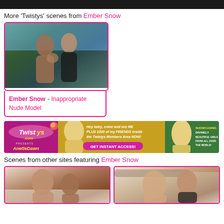[Figure (photo): Dark top bar]
More 'Twistys' scenes from Ember Snow
[Figure (photo): Ember Snow scene thumbnail - two women outdoors by pool]
Ember Snow - Inappropriate Nude Model
[Figure (photo): Twistys.com banner ad featuring Anette Dawn - GET INSTANT ACCESS]
Scenes from other sites featuring Ember Snow
[Figure (photo): Bottom left scene thumbnail]
[Figure (photo): Bottom right scene thumbnail]